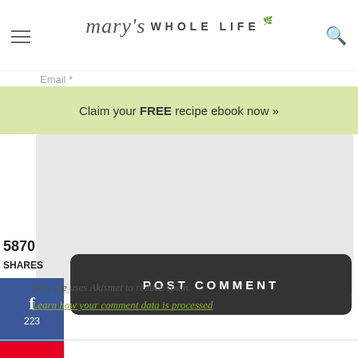mary's WHOLE LIFE
Email *
Claim your FREE recipe ebook now »
POST COMMENT
5870 SHARES
f 223
5647
Yum
This site uses Akismet to reduce spam. Learn how your comment data is processed.